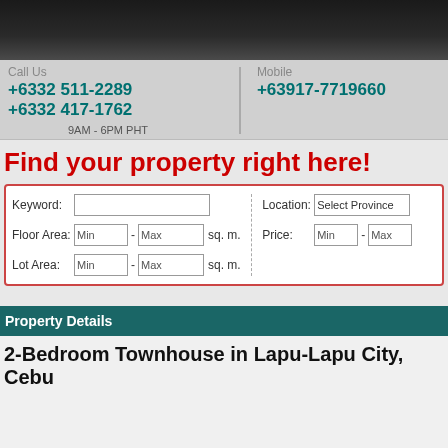[Figure (screenshot): Dark header navigation bar with black gradient background]
Call Us
+6332 511-2289
+6332 417-1762
9AM - 6PM PHT
Mobile
+63917-7719660
Find your property right here!
Keyword: [input] Floor Area: Min - Max sq. m. Lot Area: Min - Max sq. m.
Location: Select Province Price: Min - Max
Property Details
2-Bedroom Townhouse in Lapu-Lapu City, Cebu